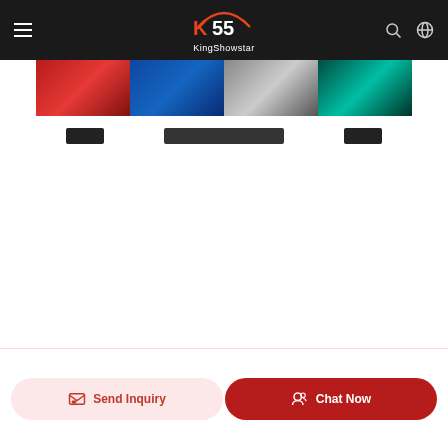KingShowstar navigation header with logo, hamburger menu, search and language icons
[Figure (photo): Product image strip showing LED wheel lights in multiple colors: red, blue, white/chrome, and teal/cyan on black background]
[Figure (photo): Three small product thumbnail images showing dark/black product views]
[Figure (photo): Main white content area (product detail page body, mostly blank/loading)]
[Figure (screenshot): Bottom action bar with Send Inquiry button (light red/pink) and Chat Now button (dark red)]